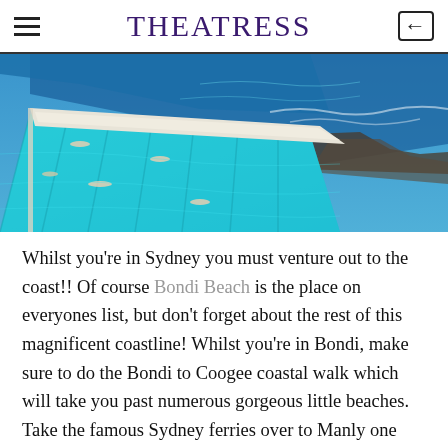THEATRESS
[Figure (photo): Aerial view of an outdoor swimming pool (Bondi Icebergs or similar ocean pool) with turquoise water and swimmers, adjacent to the ocean with waves crashing nearby.]
Whilst you're in Sydney you must venture out to the coast!! Of course Bondi Beach is the place on everyones list, but don't forget about the rest of this magnificent coastline! Whilst you're in Bondi, make sure to do the Bondi to Coogee coastal walk which will take you past numerous gorgeous little beaches. Take the famous Sydney ferries over to Manly one day – preferably a Sunday so you can